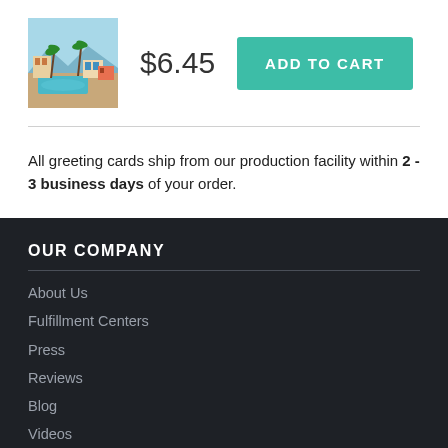[Figure (photo): Small product thumbnail showing a greeting card with a tropical/mid-century modern scene featuring palm trees, a pool, and colorful buildings]
$6.45
ADD TO CART
All greeting cards ship from our production facility within 2 - 3 business days of your order.
OUR COMPANY
About Us
Fulfillment Centers
Press
Reviews
Blog
Videos
Wholesale Prints
Gig Posters
Sell Merch Online